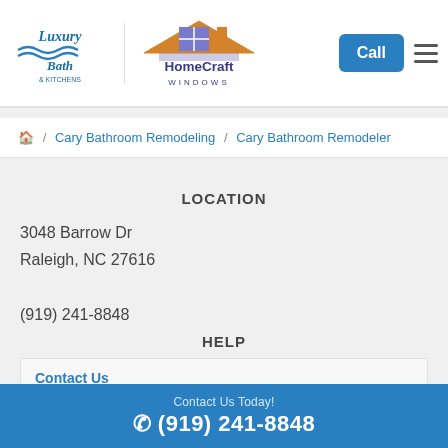[Figure (logo): Luxury Bath & Kitchens and HomeCraft Windows combined logo header with Call button and hamburger menu]
🏠 / Cary Bathroom Remodeling / Cary Bathroom Remodeler
LOCATION
3048 Barrow Dr
Raleigh, NC 27616
(919) 241-8848
HELP
Contact Us
Free Estimate
Contact Us Today!
☎ (919) 241-8848